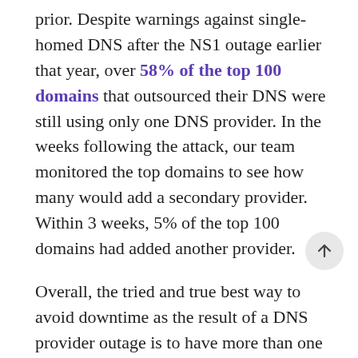prior. Despite warnings against single-homed DNS after the NS1 outage earlier that year, over 58% of the top 100 domains that outsourced their DNS were still using only one DNS provider. In the weeks following the attack, our team monitored the top domains to see how many would add a secondary provider. Within 3 weeks, 5% of the top 100 domains had added another provider.
Overall, the tried and true best way to avoid downtime as the result of a DNS provider outage is to have more than one provider. Recent studies are also finding that it can actually give you a performance boost and cut down on DNS resolution times (more on this in the coming weeks). The second best method is more of a habit. Vet your service providers, your hosting services, CDN's, and even